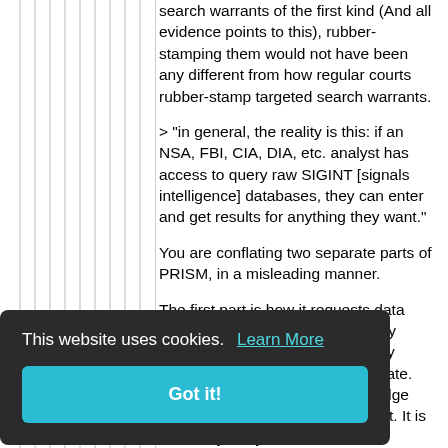search warrants of the first kind (And all evidence points to this), rubber-stamping them would not have been any different from how regular courts rubber-stamp targeted search warrants.
> "in general, the reality is this: if an NSA, FBI, CIA, DIA, etc. analyst has access to query raw SIGINT [signals intelligence] databases, they can enter and get results for anything they want."
You are conflating two separate parts of PRISM, in a misleading manner.
The first part is how it requests data from cloud providers. It does so by targeted warrant. This is incredibly similar to how regular police operate. They get a targeted warrant, a judge rubber-stamps it, and they serve it. It is incredibly likely that this is
[Figure (screenshot): Cookie consent overlay banner with dark background. Text reads 'This website uses cookies. Learn More' with a teal 'Got it!' button below. Partially obscures remaining page text.]
etrieved the where every a TLA can ditions, in the s also not illegal. If you think it is, please point me to